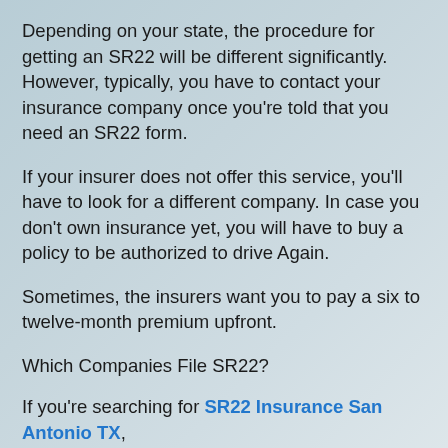Depending on your state, the procedure for getting an SR22 will be different significantly. However, typically, you have to contact your insurance company once you're told that you need an SR22 form.
If your insurer does not offer this service, you'll have to look for a different company. In case you don't own insurance yet, you will have to buy a policy to be authorized to drive Again.
Sometimes, the insurers want you to pay a six to twelve-month premium upfront.
Which Companies File SR22?
If you're searching for SR22 Insurance San Antonio TX,